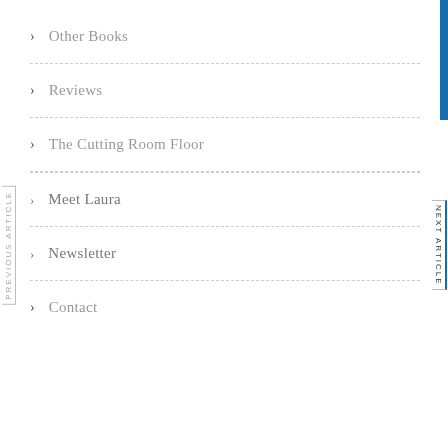> Other Books
> Reviews
> The Cutting Room Floor
> Meet Laura
> Newsletter
> Contact